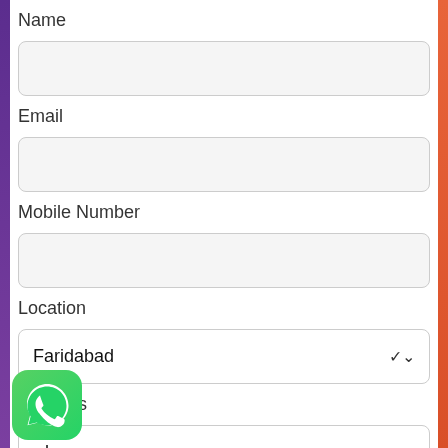Name
[Figure (screenshot): Empty text input field for Name]
Email
[Figure (screenshot): Empty text input field for Email]
Mobile Number
[Figure (screenshot): Empty text input field for Mobile Number]
Location
[Figure (screenshot): Dropdown select field showing Faridabad with chevron arrow]
Services
[Figure (screenshot): Dropdown select field showing 'rdware' (partially visible, Hardware) with chevron arrow]
[Figure (logo): WhatsApp icon - green rounded square with white phone handset logo]